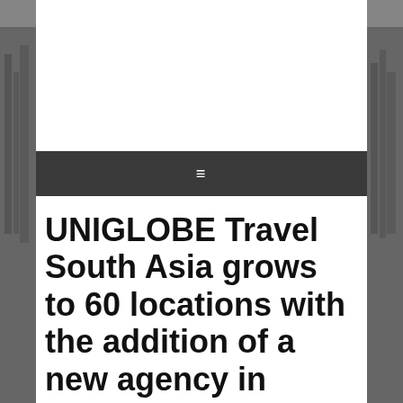≡
UNIGLOBE Travel South Asia grows to 60 locations with the addition of a new agency in Hyderabad
NOVEMBER 18, 2019 BY PRESSEDITOR